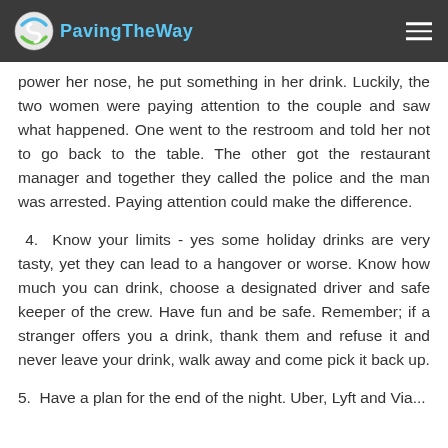PavingTheWay
power her nose, he put something in her drink. Luckily, the two women were paying attention to the couple and saw what happened. One went to the restroom and told her not to go back to the table. The other got the restaurant manager and together they called the police and the man was arrested. Paying attention could make the difference.
4.  Know your limits - yes some holiday drinks are very tasty, yet they can lead to a hangover or worse. Know how much you can drink, choose a designated driver and safe keeper of the crew. Have fun and be safe. Remember; if a stranger offers you a drink, thank them and refuse it and never leave your drink, walk away and come pick it back up.
5.  Have a plan for the end of the night. Uber, Lyft and Via...